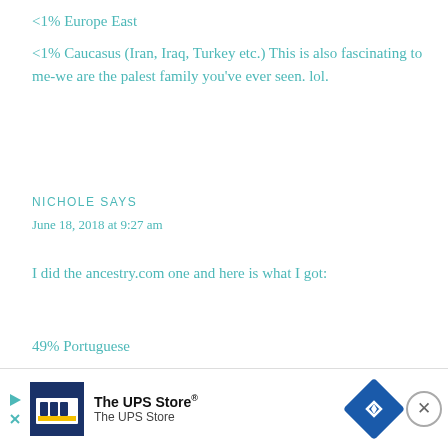<1% Europe East
<1% Caucasus (Iran, Iraq, Turkey etc.) This is also fascinating to me-we are the palest family you've ever seen. lol.
NICHOLE SAYS
June 18, 2018 at 9:27 am
I did the ancestry.com one and here is what I got:
49% Portuguese
39% French
And ethn
[Figure (infographic): Advertisement banner for The UPS Store with logo, play button, navigation arrow icon, and close button]